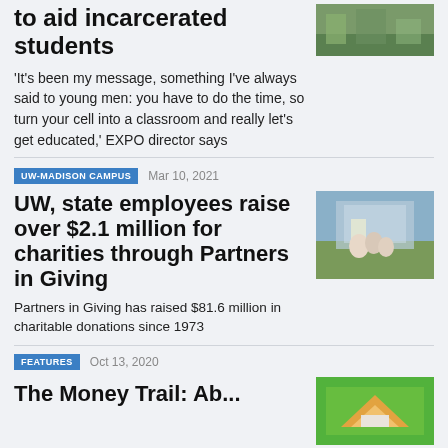to aid incarcerated students
'It's been my message, something I've always said to young men: you have to do the time, so turn your cell into a classroom and really let's get educated,' EXPO director says
[Figure (photo): Outdoor campus photo at top right]
UW-MADISON CAMPUS   Mar 10, 2021
UW, state employees raise over $2.1 million for charities through Partners in Giving
[Figure (photo): Photo of piggy bank figurines on grass in front of university building]
Partners in Giving has raised $81.6 million in charitable donations since 1973
FEATURES   Oct 13, 2020
[Figure (photo): Colorful illustration at bottom right]
The Money Trail: how...